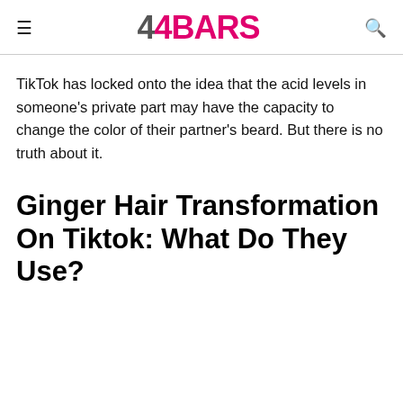44BARS
TikTok has locked onto the idea that the acid levels in someone's private part may have the capacity to change the color of their partner's beard. But there is no truth about it.
Ginger Hair Transformation On Tiktok: What Do They Use?